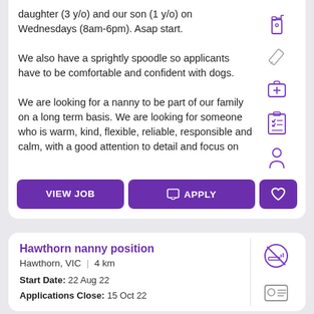daughter (3 y/o) and our son (1 y/o) on Wednesdays (8am-6pm). Asap start.

We also have a sprightly spoodle so applicants have to be comfortable and confident with dogs.

We are looking for a nanny to be part of our family on a long term basis. We are looking for someone who is warm, kind, flexible, reliable, responsible and calm, with a good attention to detail and focus on
[Figure (illustration): Purple icons: spray bottle, pencil/pen, first aid kit, checklist/clipboard, person silhouette]
VIEW JOB   APPLY   [heart]
Hawthorn nanny position
Hawthorn, VIC  |  4 km
Start Date: 22 Aug 22
Applications Close: 15 Oct 22
[Figure (illustration): Purple icons: no smoking sign, ID card/profile card]